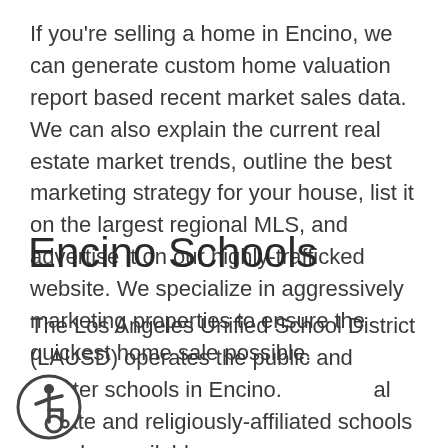If you're selling a home in Encino, we can generate custom home valuation report based recent market sales data. We can also explain the current real estate market trends, outline the best marketing strategy for your house, list it on the largest regional MLS, and advertise it on our highly-trafficked website. We specialize in aggressively marketing properties to ensure the quickest home sale possible.
Encino Schools
The Los Angeles Unified School District (LAUSD) operates the public and charter schools in Encino. Several private and religiously-affiliated schools are also available.
[Figure (illustration): Accessibility icon: a person in a wheelchair inside a circle]